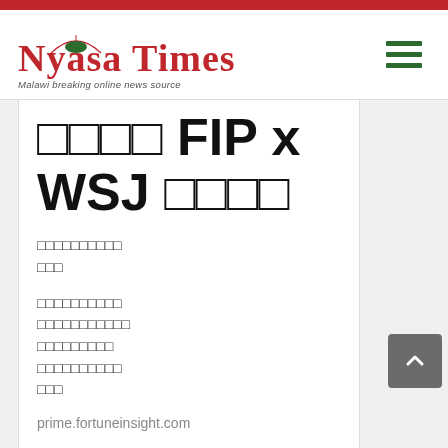Nyasa Times — Malawi breaking online news source
□□□□ FIP x WSJ □□□□
□□□□□□□□□□ □□□
□□□□□□□□□□ □□□□□□□□□□□ □□□□□□□□□ □□□□□□□□□□ □□□
prime.fortuneinsight.com